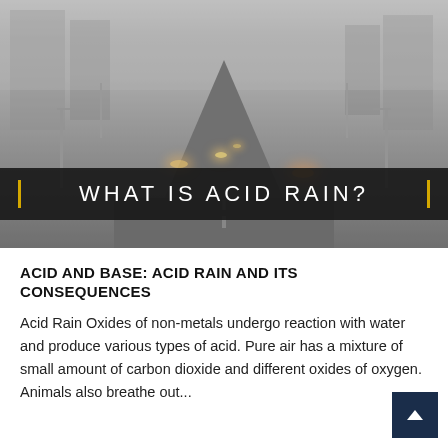[Figure (photo): Smoggy cityscape with heavy haze, vehicles on a multi-lane road with street lights barely visible through thick pollution. Overlaid dark title bar reading 'WHAT IS ACID RAIN?' with gold vertical accent bars on each side.]
ACID AND BASE: ACID RAIN AND ITS CONSEQUENCES
Acid Rain Oxides of non-metals undergo reaction with water and produce various types of acid. Pure air has a mixture of small amount of carbon dioxide and different oxides of oxygen. Animals also breathe out...